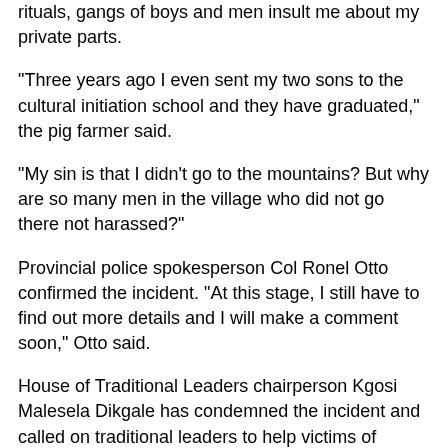rituals, gangs of boys and men insult me about my private parts.
“Three years ago I even sent my two sons to the cultural initiation school and they have graduated,” the pig farmer said.
“My sin is that I didn’t go to the mountains? But why are so many men in the village who did not go there not harassed?”
Provincial police spokesperson Col Ronel Otto confirmed the incident. “At this stage, I still have to find out more details and I will make a comment soon,” Otto said.
House of Traditional Leaders chairperson Kgosi Malesela Dikgale has condemned the incident and called on traditional leaders to help victims of harassment by cultural initiation school “fanatics”.
“Any form of harassment is not a part of our culture. Some of the pillars of cultural initiation is respect for everyone and integrity,” Dikgale said.